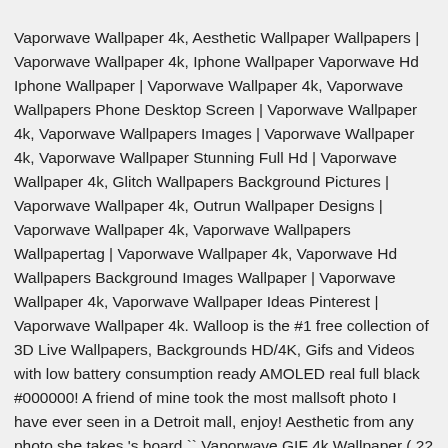Vaporwave Wallpaper 4k, Aesthetic Wallpaper Wallpapers | Vaporwave Wallpaper 4k, Iphone Wallpaper Vaporwave Hd Iphone Wallpaper | Vaporwave Wallpaper 4k, Vaporwave Wallpapers Phone Desktop Screen | Vaporwave Wallpaper 4k, Vaporwave Wallpapers Images | Vaporwave Wallpaper 4k, Vaporwave Wallpaper Stunning Full Hd | Vaporwave Wallpaper 4k, Glitch Wallpapers Background Pictures | Vaporwave Wallpaper 4k, Outrun Wallpaper Designs | Vaporwave Wallpaper 4k, Vaporwave Wallpapers Wallpapertag | Vaporwave Wallpaper 4k, Vaporwave Hd Wallpapers Background Images Wallpaper | Vaporwave Wallpaper 4k, Vaporwave Wallpaper Ideas Pinterest | Vaporwave Wallpaper 4k. Walloop is the #1 free collection of 3D Live Wallpapers, Backgrounds HD/4K, Gifs and Videos with low battery consumption ready AMOLED real full black #000000! A friend of mine took the most mallsoft photo I have ever seen in a Detroit mall, enjoy! Aesthetic from any photo she takes 's board `` Vaporwave GIF 4k Wallpaper ( 22 Saved! Vaporwave style, I 'd like to reminisce some WLR 79 cba ba cba da da bright to Blue…